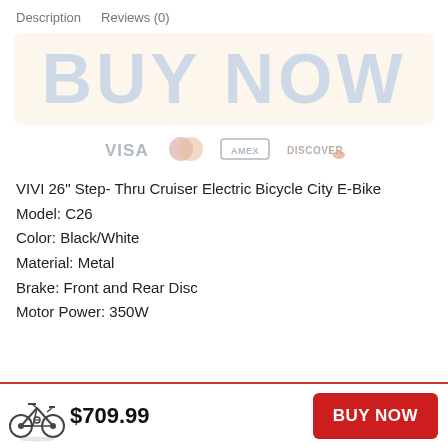Description   Reviews (0)
[Figure (other): BUY NOW banner button with light beige background]
[Figure (other): Payment method icons: VISA, Mastercard, AMEX, Discover]
VIVI 26" Step- Thru Cruiser Electric Bicycle City E-Bike
Model: C26
Color: Black/White
Material: Metal
Brake: Front and Rear Disc
Motor Power: 350W
$709.99   BUY NOW